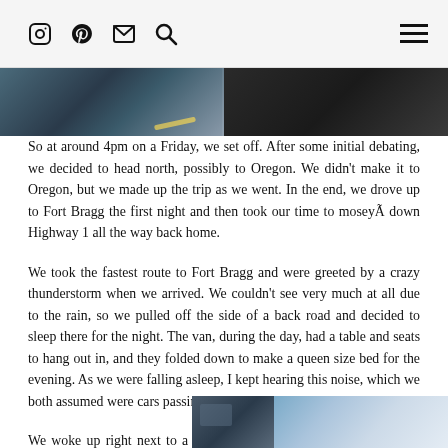Instagram Pinterest Email Search [hamburger menu]
[Figure (photo): Two cropped travel photos side by side: left shows interior/road view, right shows dark scene]
So at around 4pm on a Friday, we set off. After some initial debating, we decided to head north, possibly to Oregon. We didn't make it to Oregon, but we made up the trip as we went. In the end, we drove up to Fort Bragg the first night and then took our time to moseyÃ down Highway 1 all the way back home.
We took the fastest route to Fort Bragg and were greeted by a crazy thunderstorm when we arrived. We couldn't see very much at all due to the rain, so we pulled off the side of a back road and decided to sleep there for the night. The van, during the day, had a table and seats to hang out in, and they folded down to make a queen size bed for the evening. As we were falling asleep, I kept hearing this noise, which we both assumed were cars passing by. It turns out, it was waves!
We woke up right next to a beach with an extravagant rainbow that matched the van. Can it get any more perfect than that?
[Figure (photo): Two travel photos at bottom right: left shows van/vehicle, right shows blue sky scene]